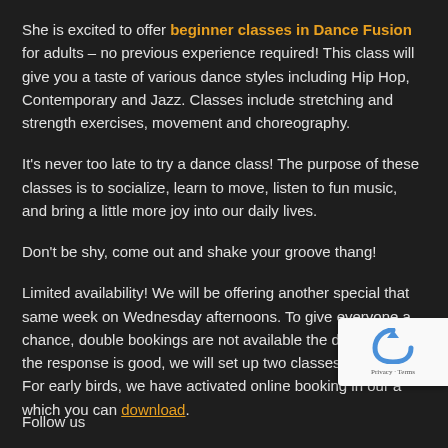She is excited to offer beginner classes in Dance Fusion for adults – no previous experience required! This class will give you a taste of various dance styles including Hip Hop, Contemporary and Jazz. Classes include stretching and strength exercises, movement and choreography.
It's never too late to try a dance class! The purpose of these classes is to socialize, learn to move, listen to fun music, and bring a little more joy into our daily lives.
Don't be shy, come out and shake your groove thang!
Limited availability! We will be offering another special that same week on Wednesday afternoons. To give everyone a chance, double bookings are not available the day before. If the response is good, we will set up two classes per week. For early birds, we have activated online booking in our a which you can download.
Follow us